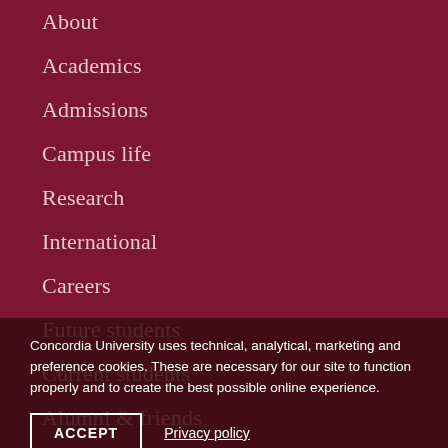About
Academics
Admissions
Campus life
Research
International
Careers
Future students
Current students
Alumni & friends
Parents
Faculty & staff
Media
Concordia University uses technical, analytical, marketing and preference cookies. These are necessary for our site to function properly and to create the best possible online experience.
ACCEPT
Privacy policy
Sir George Williams Campus